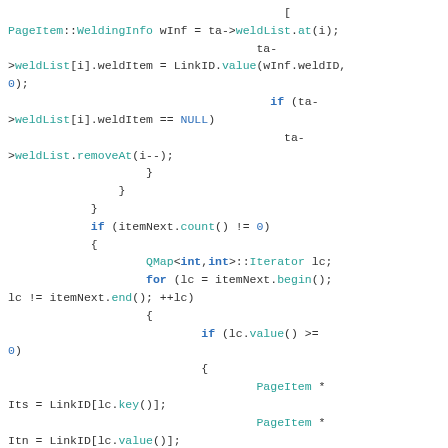Code snippet showing C++ page item welding logic with iterators and LinkID operations